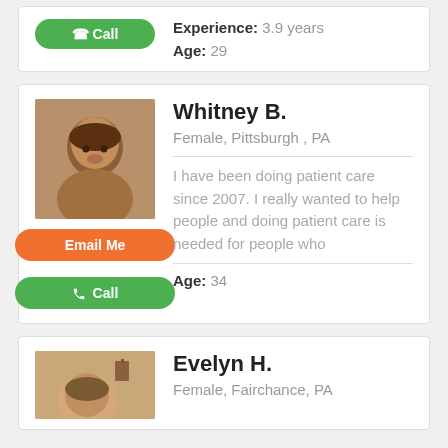Experience: 3.9 years
Age: 29
Whitney B.
Female, Pittsburgh , PA
[Figure (photo): Profile photo of Whitney B., a woman with dark hair]
Email Me
Call
I have been doing patient care since 2007. I really wanted to help people and doing patient care is needed for people who
Age: 34
Evelyn H.
Female, Fairchance, PA
[Figure (photo): Partial profile photo of Evelyn H.]